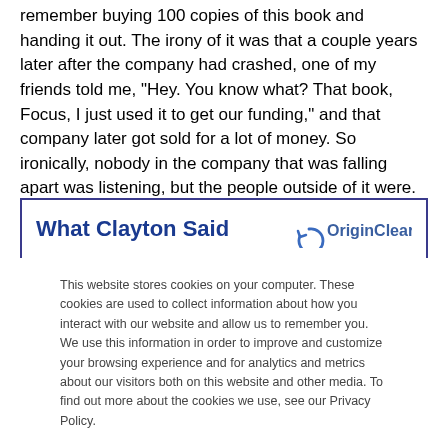remember buying 100 copies of this book and handing it out. The irony of it was that a couple years later after the company had crashed, one of my friends told me, "Hey. You know what? That book, Focus, I just used it to get our funding," and that company later got sold for a lot of money. So ironically, nobody in the company that was falling apart was listening, but the people outside of it were.
What Clayton Said
[Figure (logo): OriginClear logo with circular arrow icon]
This website stores cookies on your computer. These cookies are used to collect information about how you interact with our website and allow us to remember you. We use this information in order to improve and customize your browsing experience and for analytics and metrics about our visitors both on this website and other media. To find out more about the cookies we use, see our Privacy Policy.